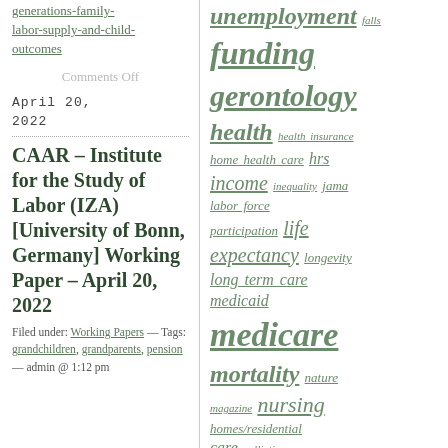generations-family-labor-supply-and-child-outcomes
Comments Off
April 20, 2022
CAAR – Institute for the Study of Labor (IZA) [University of Bonn, Germany] Working Paper – April 20, 2022
Filed under: Working Papers — Tags: grandchildren, grandparents, pension — admin @ 1:12 pm
unemployment falls funding gerontology health health insurance home health care hrs income inequality jama labor force participation life expectancy longevity long term care medicaid medicare mortality nature magazine nursing homes/residential care palliative care parkinson's pension physical activity prescription drugs proceedings